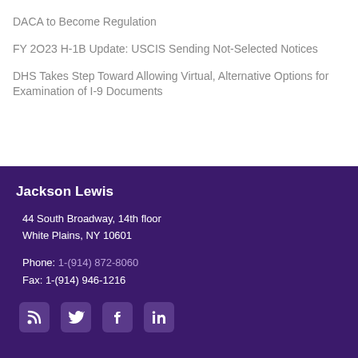DACA to Become Regulation
FY 2023 H-1B Update: USCIS Sending Not-Selected Notices
DHS Takes Step Toward Allowing Virtual, Alternative Options for Examination of I-9 Documents
Jackson Lewis
44 South Broadway, 14th floor
White Plains, NY 10601
Phone: 1-(914) 872-8060
Fax: 1-(914) 946-1216
[Figure (infographic): Social media icons: RSS, Twitter, Facebook, LinkedIn]